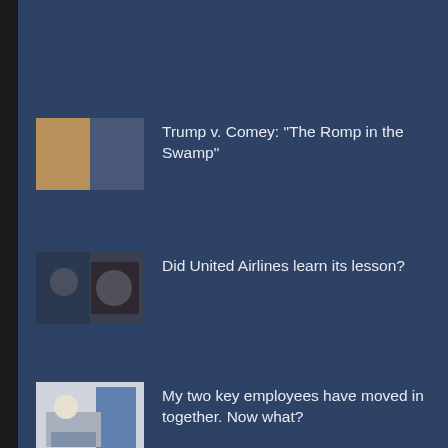[Figure (screenshot): News article thumbnail: two side-by-side photos of Trump and Comey]
Trump v. Comey: "The Romp in the Swamp"
[Figure (screenshot): News article thumbnail: United Airlines incident photo]
Did United Airlines learn its lesson?
[Figure (screenshot): News article thumbnail: office/workplace scene]
My two key employees have moved in together. Now what?
[Figure (screenshot): News article thumbnail: partial image at bottom]
How to Steer Clear of Political